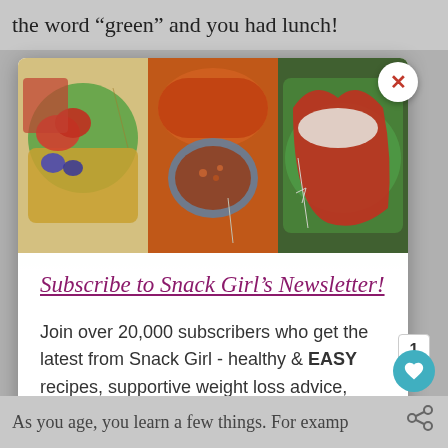the word "green" and you had lunch!
[Figure (photo): Three food photos side by side: waffles with strawberries and berries on green plate, orange pot with chili in blue bowl, and stuffed red peppers on green plate]
Subscribe to Snack Girl's Newsletter!
Join over 20,000 subscribers who get the latest from Snack Girl - healthy & EASY recipes, supportive weight loss advice, packaged food buying tips, and more!
enter your email address
Subscribe
As you age, you learn a few things. For example